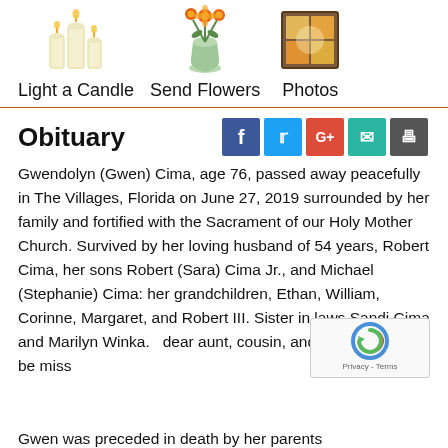[Figure (illustration): Three top icons: candle image, flower vase image, and window/photo image with labels Light a Candle, Send Flowers, Photos]
Obituary
Gwendolyn (Gwen) Cima, age 76, passed away peacefully in The Villages, Florida on June 27, 2019 surrounded by her family and fortified with the Sacrament of our Holy Mother Church. Survived by her loving husband of 54 years, Robert Cima, her sons Robert (Sara) Cima Jr., and Michael (Stephanie) Cima: her grandchildren, Ethan, William, Corinne, Margaret, and Robert III. Sister in laws Sandi Cima and Marilyn Winka. dear aunt, cousin, and friend. She will be miss
Gwen was preceded in death by her parents